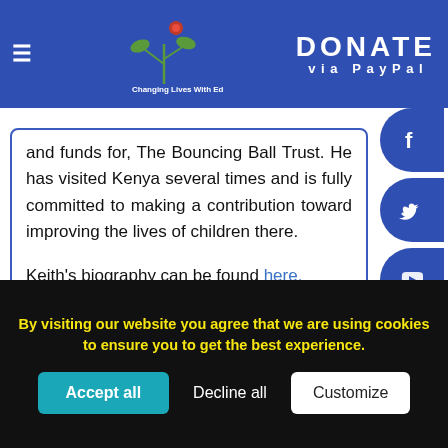DONATE via PayPal
and funds for, The Bouncing Ball Trust. He has visited Kenya several times and is fully committed to making a contribution toward improving the lives of children there.

Keith's biography can be found here.
Trustee and Volunteer Opportunites
New Trustee Opportunity
Appointment of Trustee
By visiting our website you agree that we are using cookies to ensure you to get the best experience.